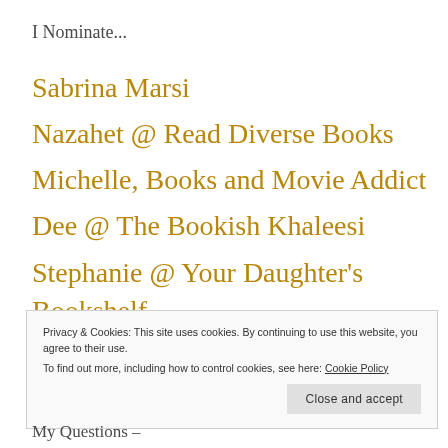I Nominate...
Sabrina Marsi
Nazahet @ Read Diverse Books
Michelle, Books and Movie Addict
Dee @ The Bookish Khaleesi
Stephanie @ Your Daughter's Bookshelf
Privacy & Cookies: This site uses cookies. By continuing to use this website, you agree to their use.
To find out more, including how to control cookies, see here: Cookie Policy
Close and accept
My Questions –